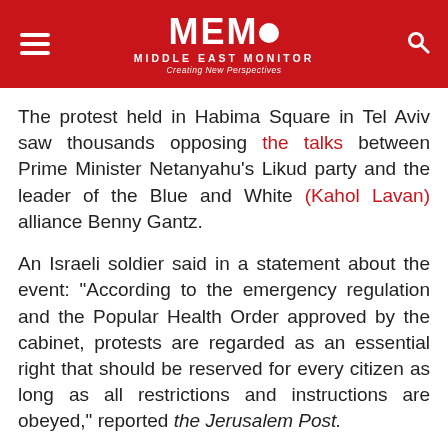MEMO MIDDLE EAST MONITOR — Creating New Perspectives
The protest held in Habima Square in Tel Aviv saw thousands opposing the talks between Prime Minister Netanyahu's Likud party and the leader of the Blue and White (Kahol Lavan) alliance Benny Gantz.
An Israeli soldier said in a statement about the event: "According to the emergency regulation and the Popular Health Order approved by the cabinet, protests are regarded as an essential right that should be reserved for every citizen as long as all restrictions and instructions are obeyed," reported the Jerusalem Post.